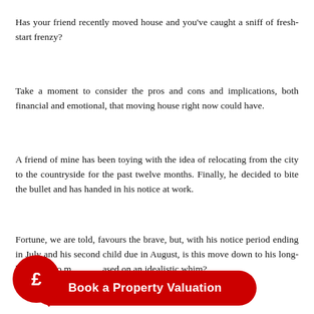Has your friend recently moved house and you've caught a sniff of fresh-start frenzy?
Take a moment to consider the pros and cons and implications, both financial and emotional, that moving house right now could have.
A friend of mine has been toying with the idea of relocating from the city to the countryside for the past twelve months. Finally, he decided to bite the bullet and has handed in his notice at work.
Fortune, we are told, favours the brave, but, with his notice period ending in July and his second child due in August, is this move down to his long-held wish to move or based on an idealistic whim?
[Figure (other): Red circular speech bubble with pound sign (£) icon and a red rounded-rectangle button reading 'Book a Property Valuation' in white text]